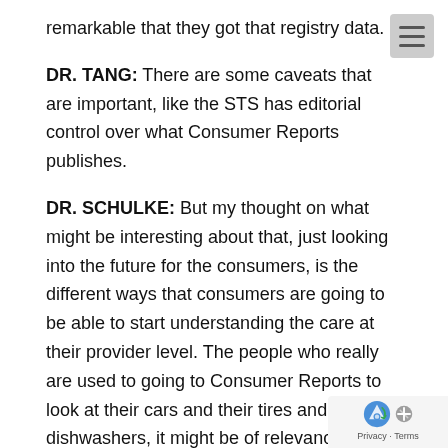remarkable that they got that registry data.
DR. TANG: There are some caveats that are important, like the STS has editorial control over what Consumer Reports publishes.
DR. SCHULKE: But my thought on what might be interesting about that, just looking into the future for the consumers, is the different ways that consumers are going to be able to start understanding the care at their provider level. The people who really are used to going to Consumer Reports to look at their cars and their tires and their dishwashers, it might be of relevance just to see if that is a place that the information is going to stick with consumers, despite all of its potential kind of flaws.
DR. TANG: So what you're saying is, what are the attrib of the assessor and reporter that make it more useful